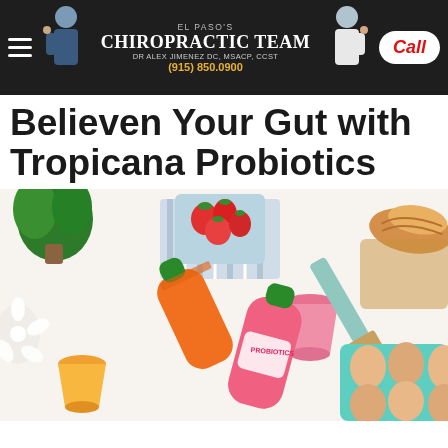El Paso's Chiropractic Team — Dr Alex Jimenez DC, MSACP, CCST — (915) 850.0900 — Call
Believen Your Gut with Tropicana Probiotics
[Figure (photo): Overhead flat-lay photo of a breakfast spread on a white table featuring Tropicana Probiotics bottles (orange and pink), a glass of pink juice, a glass of orange juice, strawberries in a bowl with a striped cloth, a green plant, white flowers, eggs in a teal carton, bread/baguette on a cutting board, and a teal spatula.]